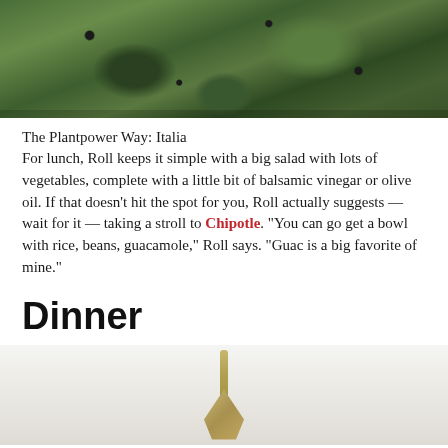[Figure (photo): Overhead photo of a large salad with green leafy vegetables, cauliflower, and dark berries/grapes, served in a wooden bowl]
The Plantpower Way: Italia
For lunch, Roll keeps it simple with a big salad with lots of vegetables, complete with a little bit of balsamic vinegar or olive oil. If that doesn’t hit the spot for you, Roll actually suggests — wait for it — taking a stroll to Chipotle. “You can go get a bowl with rice, beans, guacamole,” Roll says. “Guac is a big favorite of mine.”
Dinner
[Figure (photo): Partial image of a plant or vegetable with white/cream coloring against a light background, possibly fennel or similar ingredient]